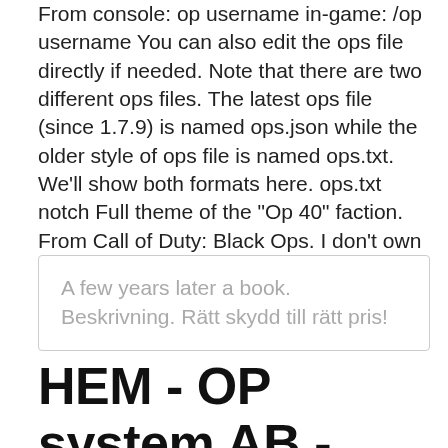From console: op username in-game: /op username You can also edit the ops file directly if needed. Note that there are two different ops files. The latest ops file (since 1.7.9) is named ops.json while the older style of ops file is named ops.txt. We'll show both formats here. ops.txt notch Full theme of the "Op 40" faction. From Call of Duty: Black Ops. I don't own the copyrights.
A few years later a book. Beskrivning. Rätt skydd till rätt pris!
HEM - OP system AB - en del av OP gruppen